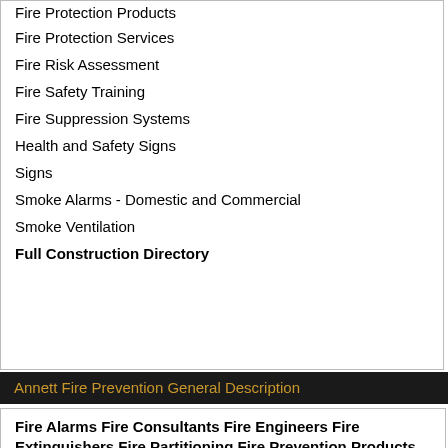Fire Protection Products
Fire Protection Services
Fire Risk Assessment
Fire Safety Training
Fire Suppression Systems
Health and Safety Signs
Signs
Smoke Alarms - Domestic and Commercial
Smoke Ventilation
Full Construction Directory
Annett Fire Prevention General Description
Fire Alarms Fire Consultants Fire Engineers Fire Extinguishers Fire Partitioning Fire Prevention Products